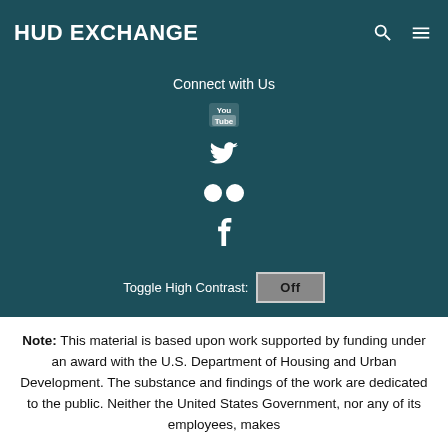HUD EXCHANGE
Connect with Us
[Figure (logo): YouTube icon]
[Figure (logo): Twitter bird icon]
[Figure (logo): Flickr icon (two circles)]
[Figure (logo): Facebook icon]
Toggle High Contrast: Off
Note: This material is based upon work supported by funding under an award with the U.S. Department of Housing and Urban Development. The substance and findings of the work are dedicated to the public. Neither the United States Government, nor any of its employees, makes